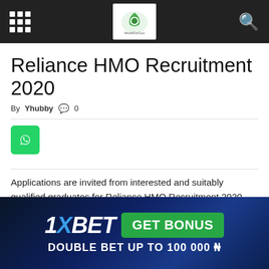WorkForGov
Reliance HMO Recruitment 2020
By Yhubby  💬 0
[Figure (logo): WhatsApp share button (green rounded square with chat icon)]
Applications are invited from interested and suitably qualified graduates for Reliance HMO Recruitment 2020.
[Figure (infographic): 1XBET advertisement banner: '1XBET GET BONUS DOUBLE BET UP TO 100 000 ₦' on dark blue background]